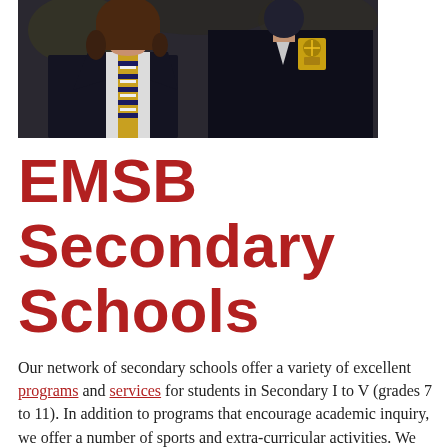[Figure (photo): Two secondary school students wearing dark navy school uniforms. The student on the left has long brown hair and wears a white shirt with a yellow and blue striped tie under a dark blazer. The student on the right wears a dark navy V-neck jumper with a gold school crest badge on the chest.]
EMSB Secondary Schools
Our network of secondary schools offer a variety of excellent programs and services for students in Secondary I to V (grades 7 to 11). In addition to programs that encourage academic inquiry, we offer a number of sports and extra-curricular activities. We also